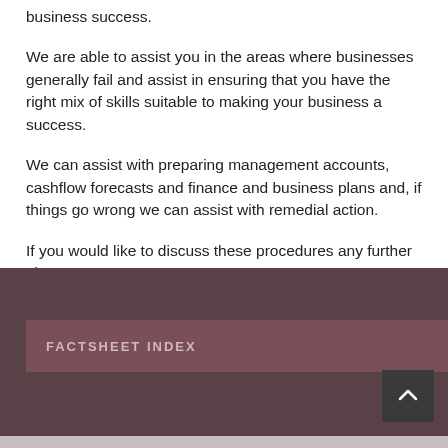business success.
We are able to assist you in the areas where businesses generally fail and assist in ensuring that you have the right mix of skills suitable to making your business a success.
We can assist with preparing management accounts, cashflow forecasts and finance and business plans and, if things go wrong we can assist with remedial action.
If you would like to discuss these procedures any further please contact us.
FACTSHEET INDEX